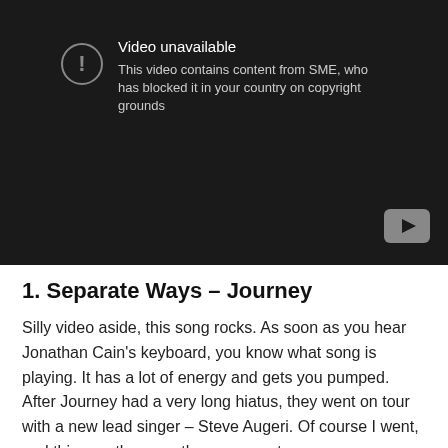[Figure (screenshot): YouTube video unavailable placeholder. Dark background with warning icon and text: 'Video unavailable. This video contains content from SME, who has blocked it in your country on copyright grounds.' YouTube logo button visible in bottom right corner.]
1. Separate Ways – Journey
Silly video aside, this song rocks. As soon as you hear Jonathan Cain's keyboard, you know what song is playing. It has a lot of energy and gets you pumped. After Journey had a very long hiatus, they went on tour with a new lead singer – Steve Augeri. Of course I went, and this was the song they came out